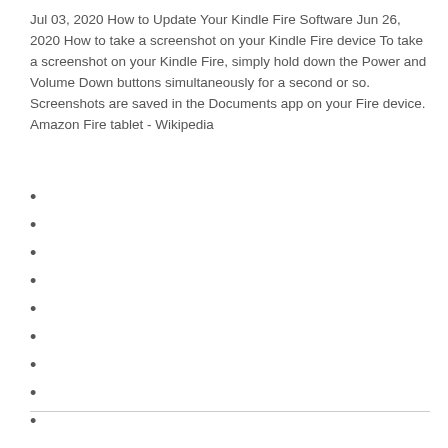Jul 03, 2020 How to Update Your Kindle Fire Software Jun 26, 2020 How to take a screenshot on your Kindle Fire device To take a screenshot on your Kindle Fire, simply hold down the Power and Volume Down buttons simultaneously for a second or so. Screenshots are saved in the Documents app on your Fire device. Amazon Fire tablet - Wikipedia